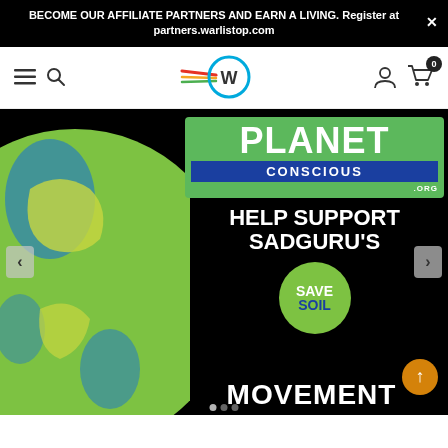BECOME OUR AFFILIATE PARTNERS AND EARN A LIVING. Register at partners.warlistop.com
[Figure (screenshot): Warlistop website navigation bar with hamburger menu, search icon, logo with letter W and colorful wings/arc, user icon, and shopping cart with badge showing 0]
[Figure (screenshot): Hero banner on black background showing: a yellow-green globe on the left, Planet Conscious .org logo in green box, text HELP SUPPORT SADGURU'S, a Save Soil circle badge, and MOVEMENT text at the bottom. Left and right carousel navigation arrows visible.]